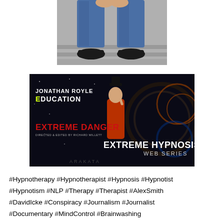[Figure (photo): Cropped photo showing lower body of a person seated on steps, wearing blue jeans and black shoes, with hands visible at the top of frame.]
[Figure (illustration): Dark promotional banner reading 'Jonathan Royle Education - Extreme Danger - Directed & Edited by Richard Willett - Extreme Hypnosis Web Series', featuring a figure in top hat and red outfit on a dark starry background.]
#Hypnotherapy #Hypnotherapist #Hypnosis #Hypnotist #Hypnotism #NLP #Therapy #Therapist #AlexSmith #DavidIcke #Conspiracy #Journalism #Journalist #Documentary #MindControl #Brainwashing